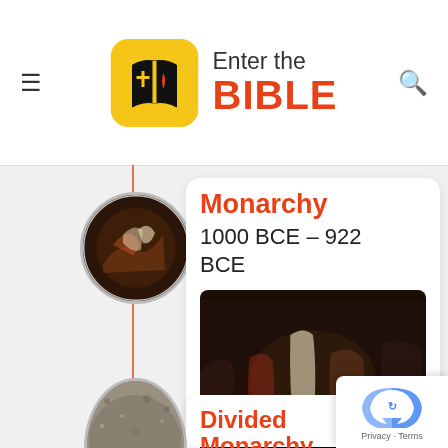[Figure (logo): Enter the Bible logo: yellow rounded square with open book icon containing a cross and flame, with text 'Enter the BIBLE' in black and red]
Monarchy
1000 BCE – 922 BCE
[Figure (illustration): Dark oil painting showing robed figures in a dramatic scene, possibly a biblical court scene]
Divided Monarchy